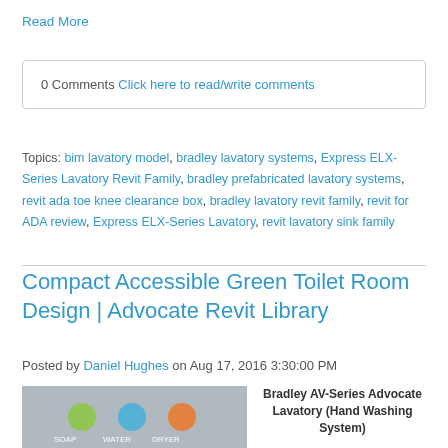Read More
0 Comments Click here to read/write comments
Topics: bim lavatory model, bradley lavatory systems, Express ELX-Series Lavatory Revit Family, bradley prefabricated lavatory systems, revit ada toe knee clearance box, bradley lavatory revit family, revit for ADA review, Express ELX-Series Lavatory, revit lavatory sink family
Compact Accessible Green Toilet Room Design | Advocate Revit Library
Posted by Daniel Hughes on Aug 17, 2016 3:30:00 PM
[Figure (photo): Image of Bradley AV-Series Advocate Lavatory hand washing system with soap, water, and dryer controls visible]
Bradley AV-Series Advocate Lavatory (Hand Washing System)